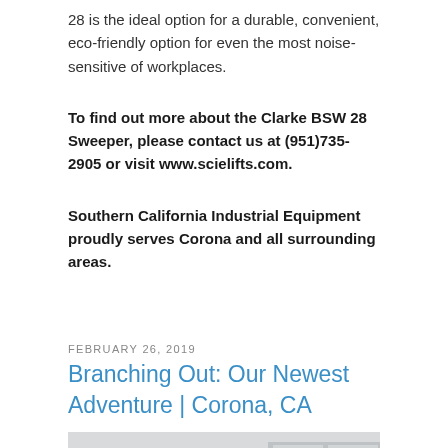28 is the ideal option for a durable, convenient, eco-friendly option for even the most noise-sensitive of workplaces.
To find out more about the Clarke BSW 28 Sweeper, please contact us at (951)735-2905 or visit www.scielifts.com.
Southern California Industrial Equipment proudly serves Corona and all surrounding areas.
FEBRUARY 26, 2019
Branching Out: Our Newest Adventure | Corona, CA
[Figure (photo): Photo of a man sitting at a desk in an office environment with cubicle partitions visible in the background.]